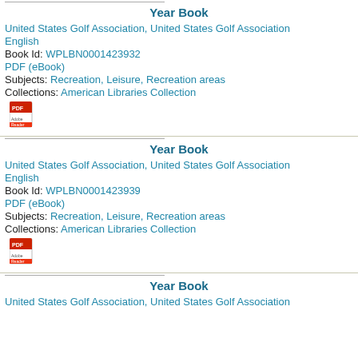Year Book
United States Golf Association, United States Golf Association
English
Book Id: WPLBN0001423932
PDF (eBook)
Subjects: Recreation, Leisure, Recreation areas
Collections: American Libraries Collection
[Figure (other): PDF icon]
Year Book
United States Golf Association, United States Golf Association
English
Book Id: WPLBN0001423939
PDF (eBook)
Subjects: Recreation, Leisure, Recreation areas
Collections: American Libraries Collection
[Figure (other): PDF icon]
Year Book
United States Golf Association, United States Golf Association